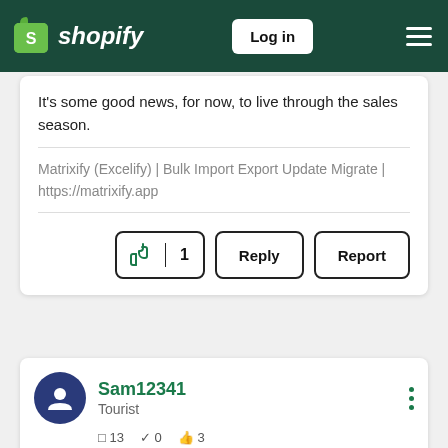[Figure (screenshot): Shopify navigation header with logo, Log in button, and hamburger menu on dark green background]
It's some good news, for now, to live through the sales season.
Matrixify (Excelify) | Bulk Import Export Update Migrate | https://matrixify.app
[Figure (other): Action buttons: thumbs up with count 1, Reply, Report]
Sam12341
Tourist
13  0  3